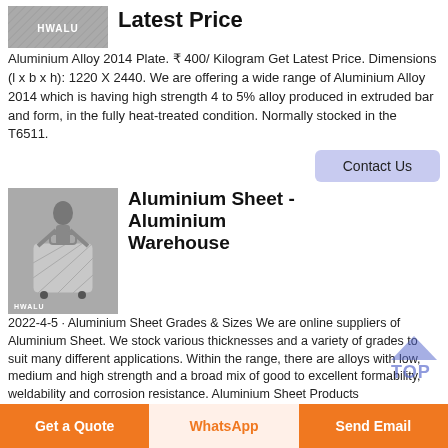[Figure (photo): HWALU branded aluminium plate product image, grey textured surface with white HWALU logo]
Latest Price
Aluminium Alloy 2014 Plate. ₹ 400/ Kilogram Get Latest Price. Dimensions (l x b x h): 1220 X 2440. We are offering a wide range of Aluminium Alloy 2014 which is having high strength 4 to 5% alloy produced in extruded bar and form, in the fully heat-treated condition. Normally stocked in the T6511.
Contact Us
[Figure (photo): HWALU branded photo of a woman holding a silver aluminium textured suitcase/luggage on a grey background]
Aluminium Sheet - Aluminium Warehouse
2022-4-5 · Aluminium Sheet Grades & Sizes We are online suppliers of Aluminium Sheet. We stock various thicknesses and a variety of grades to suit many different applications. Within the range, there are alloys with low, medium and high strength and a broad mix of good to excellent formability, weldability and corrosion resistance. Aluminium Sheet Products
Get a Quote
WhatsApp
Send Email